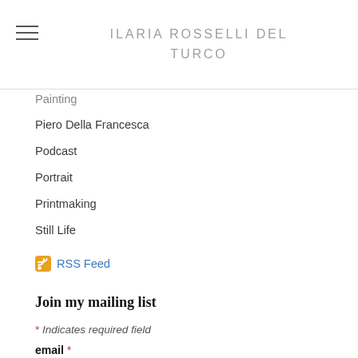ILARIA ROSSELLI DEL TURCO
Painting
Piero Della Francesca
Podcast
Portrait
Printmaking
Still Life
RSS Feed
Join my mailing list
* Indicates required field
email *